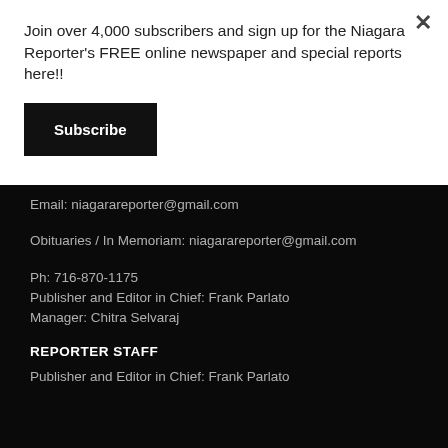Join over 4,000 subscribers and sign up for the Niagara Reporter's FREE online newspaper and special reports here!!
Subscribe
Email: niagarareporter@gmail.com
Obituaries / In Memoriam: niagarareporter@gmail.com
Ph: 716-870-1175
Publisher and Editor in Chief: Frank Parlato
Manager: Chitra Selvaraj
REPORTER STAFF
Publisher and Editor in Chief: Frank Parlato